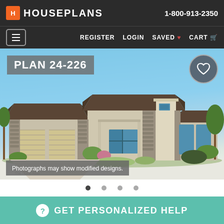H HOUSEPLANS 1-800-913-2350
☰ REGISTER LOGIN SAVED ♥ CART
PLAN 24-226
[Figure (illustration): Rendered front elevation of a single-story modern ranch house with hip roofs, stone veneer columns, three-car garage, desert landscaping, and blue sky background]
Photographs may show modified designs.
GET PERSONALIZED HELP